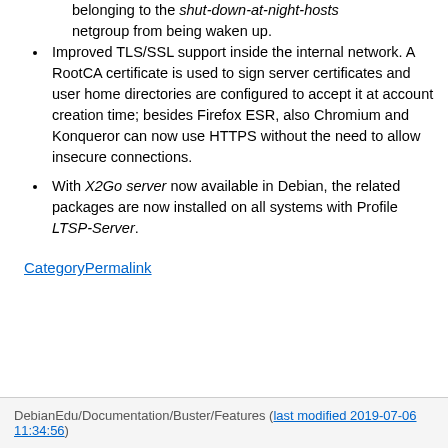belonging to the shut-down-at-night-hosts netgroup from being waken up.
Improved TLS/SSL support inside the internal network. A RootCA certificate is used to sign server certificates and user home directories are configured to accept it at account creation time; besides Firefox ESR, also Chromium and Konqueror can now use HTTPS without the need to allow insecure connections.
With X2Go server now available in Debian, the related packages are now installed on all systems with Profile LTSP-Server.
CategoryPermalink
DebianEdu/Documentation/Buster/Features (last modified 2019-07-06 11:34:56)